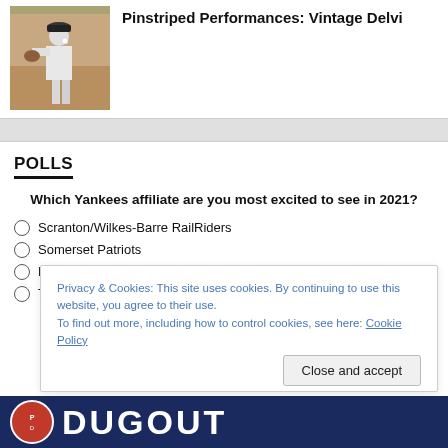[Figure (photo): Baseball player in white pinstripe uniform fielding, with reddish-orange dirt infield background]
Pinstriped Performances: Vintage Delvi
POLLS
Which Yankees affiliate are you most excited to see in 2021?
Scranton/Wilkes-Barre RailRiders
Somerset Patriots
Hudson Valley Renegades
Tampa Tarpons
Privacy & Cookies: This site uses cookies. By continuing to use this website, you agree to their use.
To find out more, including how to control cookies, see here: Cookie Policy
[Figure (logo): Dugout logo on dark blue banner at bottom of page]